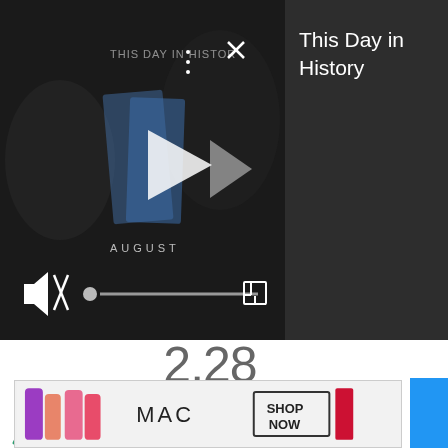[Figure (screenshot): Video player showing 'This Day in History' with dark background, play button, mute icon, progress bar, and fullscreen icon. Month label 'AUGUST' visible.]
This Day in History
2.28
Average Household Size
[Figure (pie-chart): ]
[Figure (screenshot): MAC cosmetics advertisement banner with lipsticks and 'SHOP NOW' button]